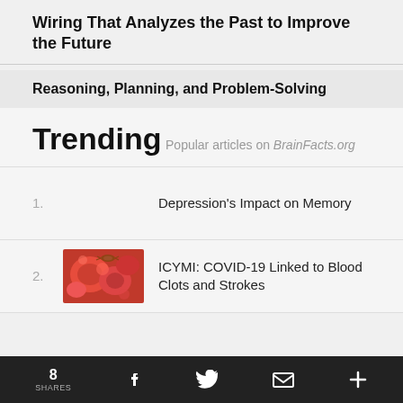Wiring That Analyzes the Past to Improve the Future
Reasoning, Planning, and Problem-Solving
Trending
Popular articles on BrainFacts.org
1. Depression's Impact on Memory
2. ICYMI: COVID-19 Linked to Blood Clots and Strokes
8 SHARES